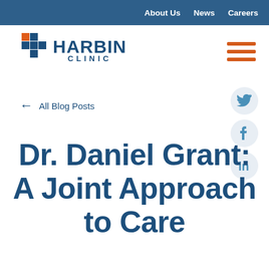About Us  News  Careers
[Figure (logo): Harbin Clinic logo with cross icon and text HARBIN CLINIC]
[Figure (other): Hamburger menu icon (three orange horizontal lines)]
← All Blog Posts
[Figure (other): Twitter bird social share icon]
[Figure (other): Facebook f social share icon]
[Figure (other): LinkedIn in social share icon]
Dr. Daniel Grant: A Joint Approach to Care